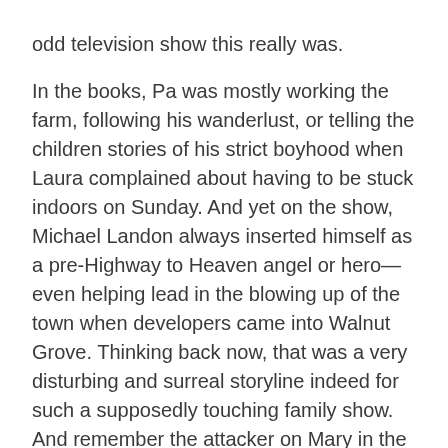odd television show this really was.
In the books, Pa was mostly working the farm, following his wanderlust, or telling the children stories of his strict boyhood when Laura complained about having to be stuck indoors on Sunday. And yet on the show, Michael Landon always inserted himself as a pre-Highway to Heaven angel or hero— even helping lead in the blowing up of the town when developers came into Walnut Grove. Thinking back now, that was a very disturbing and surreal storyline indeed for such a supposedly touching family show. And remember the attacker on Mary in the blind school, how Pa came and went all Chuck Norris on him— I don't remember that from the books at all.  A man wearing yellow suspenders and a thick striped red tie that matches him to a 1974 B- grade department store clerk rubs his messy gray hair, and